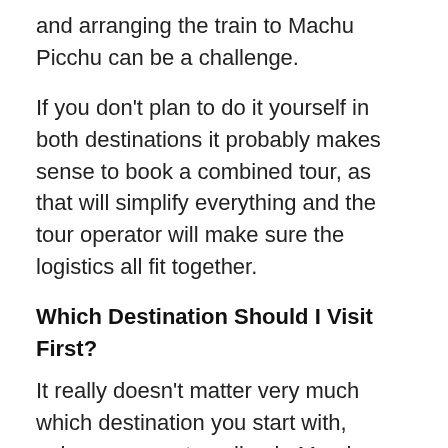and arranging the train to Machu Picchu can be a challenge.
If you don't plan to do it yourself in both destinations it probably makes sense to book a combined tour, as that will simplify everything and the tour operator will make sure the logistics all fit together.
Which Destination Should I Visit First?
It really doesn't matter very much which destination you start with, unless you are traveling in March or December or January (see the weather section below). If traveling in March we would recommend that you start in the Galapagos so you go to Peru as late in March as possible, and if traveling in December or January we recommend going to Peru first so that you are in the Galapagos when the weather is most likely